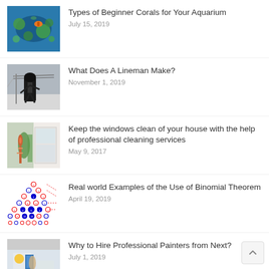[Figure (photo): Coral reef with colorful fish in aquarium]
Types of Beginner Corals for Your Aquarium
July 15, 2019
[Figure (photo): Lineman worker on power lines in black gear]
What Does A Lineman Make?
November 1, 2019
[Figure (photo): Person cleaning windows of a house]
Keep the windows clean of your house with the help of professional cleaning services
May 9, 2017
[Figure (illustration): Pascal's triangle diagram with colored dots and dashed lines]
Real world Examples of the Use of Binomial Theorem
April 19, 2019
[Figure (photo): Professional painter in yellow hard hat painting a wall]
Why to Hire Professional Painters from Next?
July 1, 2019